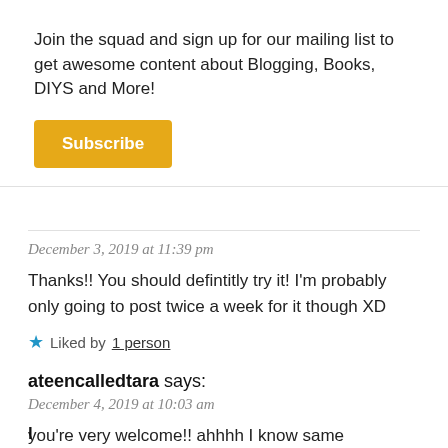Join the squad and sign up for our mailing list to get awesome content about Blogging, Books, DIYS and More!
[Figure (other): Subscribe button — yellow/gold rounded rectangle with white bold text 'Subscribe']
December 3, 2019 at 11:39 pm
Thanks!! You should defintitly try it! I'm probably only going to post twice a week for it though XD
Liked by 1 person
ateencalledtara says:
December 4, 2019 at 10:03 am
you're very welcome!! ahhhh I know same
Like